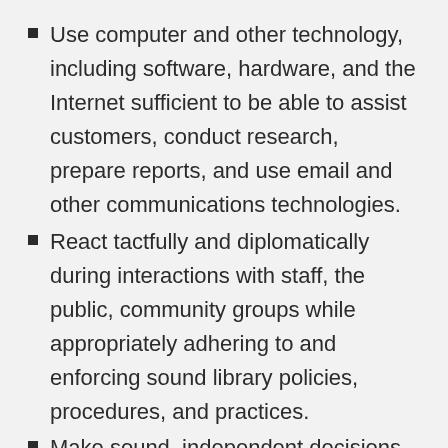Use computer and other technology, including software, hardware, and the Internet sufficient to be able to assist customers, conduct research, prepare reports, and use email and other communications technologies.
React tactfully and diplomatically during interactions with staff, the public, community groups while appropriately adhering to and enforcing sound library policies, procedures, and practices.
Make sound, independent decisions within established policy and procedural guidelines.
Use English effectively to communicate in...